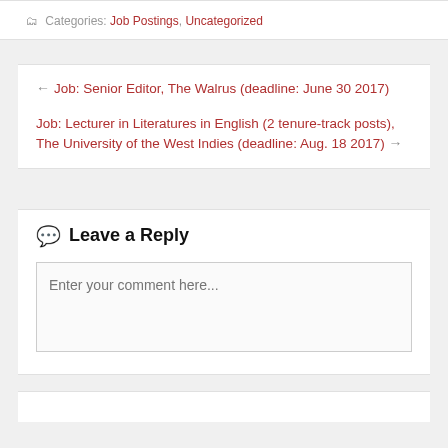Categories: Job Postings, Uncategorized
← Job: Senior Editor, The Walrus (deadline: June 30 2017)
Job: Lecturer in Literatures in English (2 tenure-track posts), The University of the West Indies (deadline: Aug. 18 2017) →
Leave a Reply
Enter your comment here...